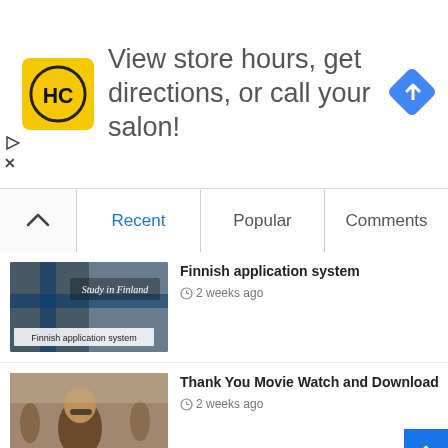[Figure (infographic): Advertisement banner: HC salon logo (yellow square with black HC text), text 'View store hours, get directions, or call your salon!', blue diamond navigation icon. Small play and X controls on left edge.]
Recent
Popular
Comments
[Figure (photo): Image for 'Finnish application system' article: dark overlay image with Finnish flag, text 'Study in Finland' in upper area and 'Finnish application system' in white box at bottom.]
Finnish application system
2 weeks ago
[Figure (photo): Image for 'Thank You Movie Watch and Download' article: man with beard and sunglasses in foreground, action movie poster style.]
Thank You Movie Watch and Download
2 weeks ago